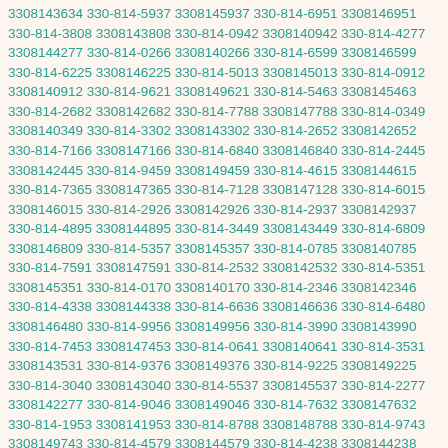3308143634 330-814-5937 3308145937 330-814-6951 3308146951 330-814-3808 3308143808 330-814-0942 3308140942 330-814-4277 3308144277 330-814-0266 3308140266 330-814-6599 3308146599 330-814-6225 3308146225 330-814-5013 3308145013 330-814-0912 3308140912 330-814-9621 3308149621 330-814-5463 3308145463 330-814-2682 3308142682 330-814-7788 3308147788 330-814-0349 3308140349 330-814-3302 3308143302 330-814-2652 3308142652 330-814-7166 3308147166 330-814-6840 3308146840 330-814-2445 3308142445 330-814-9459 3308149459 330-814-4615 3308144615 330-814-7365 3308147365 330-814-7128 3308147128 330-814-6015 3308146015 330-814-2926 3308142926 330-814-2937 3308142937 330-814-4895 3308144895 330-814-3449 3308143449 330-814-6809 3308146809 330-814-5357 3308145357 330-814-0785 3308140785 330-814-7591 3308147591 330-814-2532 3308142532 330-814-5351 3308145351 330-814-0170 3308140170 330-814-2346 3308142346 330-814-4338 3308144338 330-814-6636 3308146636 330-814-6480 3308146480 330-814-9956 3308149956 330-814-3990 3308143990 330-814-7453 3308147453 330-814-0641 3308140641 330-814-3531 3308143531 330-814-9376 3308149376 330-814-9225 3308149225 330-814-3040 3308143040 330-814-5537 3308145537 330-814-2277 3308142277 330-814-9046 3308149046 330-814-7632 3308147632 330-814-1953 3308141953 330-814-8788 3308148788 330-814-9743 3308149743 330-814-4579 3308144579 330-814-4238 3308144238 330-814-4506 3308144506 330-814-6930 3308146930 330-814-2522 3308142522 330-814-9134 3308149134 330-814-7671 3308147671 330-814-2781 3308142781 330-814-6089 3308146089 330-814-5776 3308145776 330-814-2686 3308142686 330-814-4532 3308144532 330-